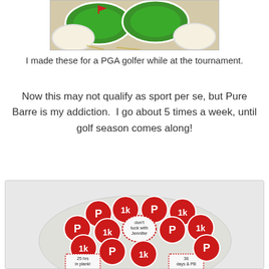[Figure (photo): Photo of golf-themed decorated cookies with green icing on a white background, partially cropped at top]
I made these for a PGA golfer while at the tournament.
Now this may not qualify as sport per se, but Pure Barre is my addiction.  I go about 5 times a week, until golf season comes along!
[Figure (photo): Photo of Pure Barre themed decorated cookies on a plate. Red circular cookies with 'P' and '1k' logos, plus special cookies reading 'don't tuck with Jennifer', '25 hrs in plank!', and '38 days & PB']